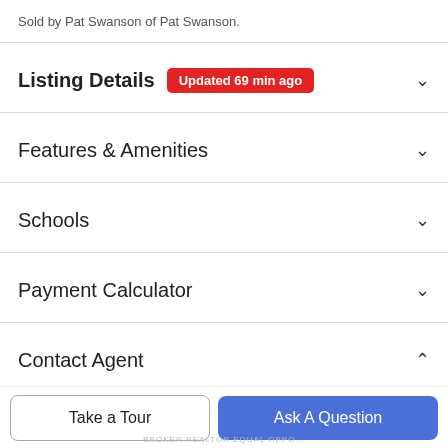Sold by Pat Swanson of Pat Swanson.
Listing Details  Updated 69 min ago
Features & Amenities
Schools
Payment Calculator
Contact Agent
[Figure (photo): Circular profile photo of a female real estate agent with dark hair]
Take a Tour
Ask A Question